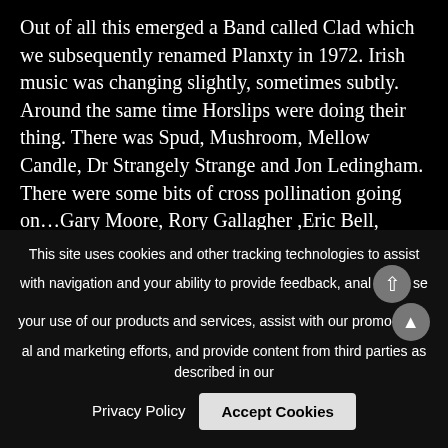Out of all this emerged a Band called Clad which we subsequently renamed Planxty in 1972. Irish music was changing slightly, sometimes subtly. Around the same time Horslips were doing their thing. There was Spud, Mushroom, Mellow Candle, Dr Strangely Strange and Jon Ledingham. There were some bits of cross pollination going on…Gary Moore, Rory Gallagher ,Eric Bell, Philip Donnelly and Jimmy Faulkner were bending the notes. I started playing with Jimmy Faulkner in 1974, then we were joined by Declan McNelis and Kevin Burke. Paddy Spillane of The Meeting Place offered his function room and I began a residency there on Monday nights and then started doing
This site uses cookies and other tracking technologies to assist with navigation and your ability to provide feedback, analyse your use of our products and services, assist with our promotional and marketing efforts, and provide content from third parties as described in our
Privacy Policy   Accept Cookies